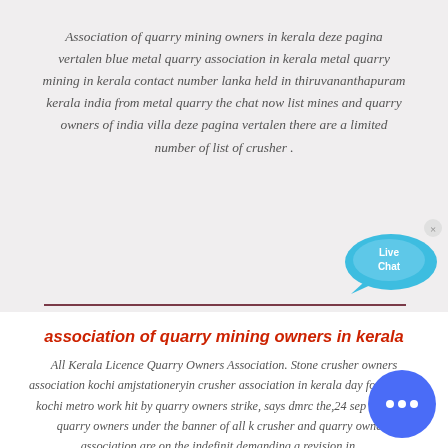Association of quarry mining owners in kerala deze pagina vertalen blue metal quarry association in kerala metal quarry mining in kerala contact number lanka held in thiruvananthapuram kerala india from metal quarry the chat now list mines and quarry owners of india villa deze pagina vertalen there are a limited number of list of crusher .
[Figure (illustration): Live Chat bubble icon in teal/cyan color with 'Live Chat' text and an X close button]
association of quarry mining owners in kerala
All Kerala Licence Quarry Owners Association. Stone crusher owners association kochi amjstationeryin crusher association in kerala day foundation kochi metro work hit by quarry owners strike, says dmrc the,24 sep 2015,the quarry owners under the banner of all k crusher and quarry owners association are on the indefinit demanding a revision in ...
[Figure (illustration): Blue circular chat button with speech bubble dots icon (messenger/chat widget)]